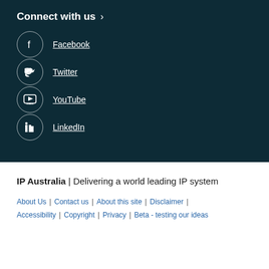Connect with us >
Facebook
Twitter
YouTube
LinkedIn
IP Australia | Delivering a world leading IP system
About Us | Contact us | About this site | Disclaimer | Accessibility | Copyright | Privacy | Beta - testing our ideas